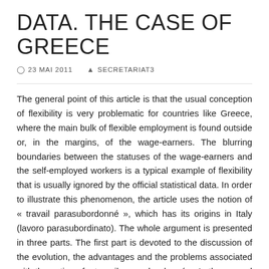DATA. THE CASE OF GREECE
23 MAI 2011   SECRETARIAT3
The general point of this article is that the usual conception of flexibility is very problematic for countries like Greece, where the main bulk of flexible employment is found outside or, in the margins, of the wage-earners. The blurring boundaries between the statuses of the wage-earners and the self-employed workers is a typical example of flexibility that is usually ignored by the official statistical data. In order to illustrate this phenomenon, the article uses the notion of « travail parasubordonné », which has its origins in Italy (lavoro parasubordinato). The whole argument is presented in three parts. The first part is devoted to the discussion of the evolution, the advantages and the problems associated with the notion of « travail parasubordonné ». In the second part evidence is presented from a field research on the employment